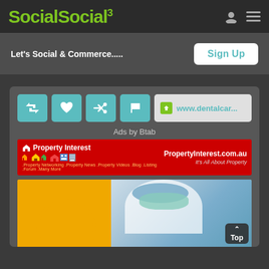Social³
Let's Social & Commerce.....
Sign Up
www.dentalcar...
Ads by Btab
[Figure (screenshot): Property Interest banner advertisement with red background showing property-related icons and the domain PropertyInterest.com.au]
[Figure (photo): Dental care composite image with yellow/golden circular background on the left and a photo of a dentist in mask treating a patient on the right]